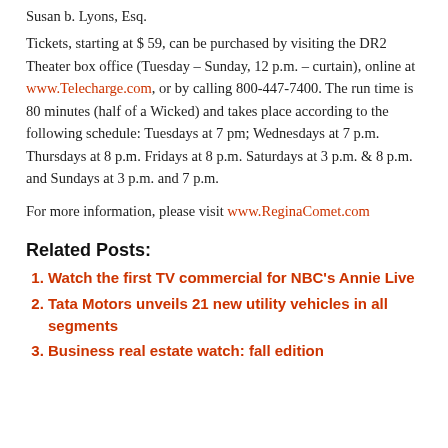Susan b. Lyons, Esq.
Tickets, starting at $ 59, can be purchased by visiting the DR2 Theater box office (Tuesday – Sunday, 12 p.m. – curtain), online at www.Telecharge.com, or by calling 800-447-7400. The run time is 80 minutes (half of a Wicked) and takes place according to the following schedule: Tuesdays at 7 pm; Wednesdays at 7 p.m. Thursdays at 8 p.m. Fridays at 8 p.m. Saturdays at 3 p.m. & 8 p.m. and Sundays at 3 p.m. and 7 p.m.
For more information, please visit www.ReginaComet.com
Related Posts:
Watch the first TV commercial for NBC's Annie Live
Tata Motors unveils 21 new utility vehicles in all segments
Business real estate watch: fall edition